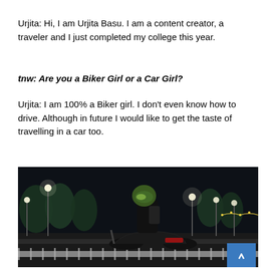Urjita: Hi, I am Urjita Basu. I am a content creator, a traveler and I just completed my college this year.
tnw: Are you a Biker Girl or a Car Girl?
Urjita: I am 100% a Biker girl. I don't even know how to drive. Although in future I would like to get the taste of travelling in a car too.
[Figure (photo): Night photo of a person wearing a helmet sitting on a motorcycle on an illuminated street with trees and street lights in the background. A blue scroll-to-top button is visible in the bottom right corner.]